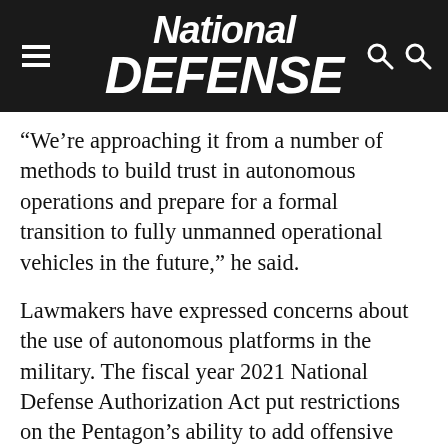National Defense
“We’re approaching it from a number of methods to build trust in autonomous operations and prepare for a formal transition to fully unmanned operational vehicles in the future,” he said.
Lawmakers have expressed concerns about the use of autonomous platforms in the military. The fiscal year 2021 National Defense Authorization Act put restrictions on the Pentagon’s ability to add offensive capabilities to unmanned systems until it could satisfy lawmakers that it would adhere to the laws of armed conflict and were the most appropriate vessels for warfighter